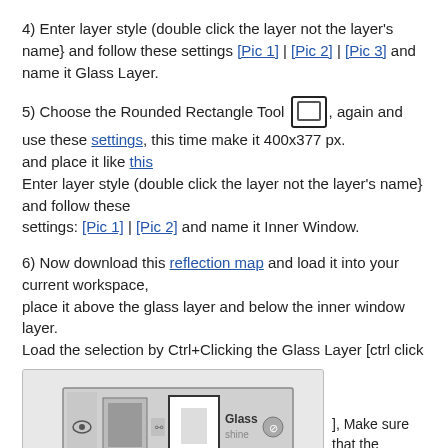4) Enter layer style (double click the layer not the layer's name} and follow these settings [Pic 1] | [Pic 2] | [Pic 3] and name it Glass Layer.
5) Choose the Rounded Rectangle Tool [icon] again and use these settings, this time make it 400x377 px. and place it like this Enter layer style (double click the layer not the layer's name} and follow these settings: [Pic 1] | [Pic 2] and name it Inner Window.
6) Now download this reflection map and load it into your current workspace, place it above the glass layer and below the inner window layer. Load the selection by Ctrl+Clicking the Glass Layer [ctrl click
[Figure (screenshot): Screenshot of Photoshop layers panel showing a layer named 'Glass' with a Ctrl+Click annotation arrow pointing to the layer thumbnail.]
], Make sure that the
reflection map layer is selected and add Layer Mask by clicking this
LayerMask